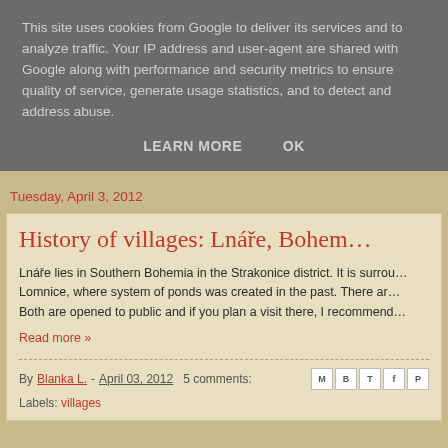This site uses cookies from Google to deliver its services and to analyze traffic. Your IP address and user-agent are shared with Google along with performance and security metrics to ensure quality of service, generate usage statistics, and to detect and address abuse.
LEARN MORE    OK
Tuesday, April 3, 2012
History of villages: Lnáře, Bohem...
Lnáře lies in Southern Bohemia in the Strakonice district. It is surrou... Lomnice, where system of ponds was created in the past. There ar... Both are opened to public and if you plan a visit there, I recommend...
Read more »
By Blanka L. - April 03, 2012   5 comments:
Labels: villages